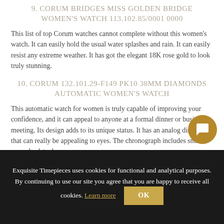9. CORUM BRIDGES MISS GOLDEN BRIDGE WOMEN'S WATCH 113.102.85/0001 0000
This list of top Corum watches cannot complete without this women's watch. It can easily hold the usual water splashes and rain. It can easily resist any extreme weather. It has got the elegant 18K rose gold to look truly stunning.
10. CORUM 132.101.29-F149 PK10 38MM DIAMONDS AUTOMATIC WOMEN'S WATCH
This automatic watch for women is truly capable of improving your confidence, and it can appeal to anyone at a formal dinner or business meeting. Its design adds to its unique sta... It has an analog display that can really be appealing to eyes. The chronograph includes small seconds, date, hours,
Exquisite Timepieces uses cookies for functional and analytical purposes. By continuing to use our site you agree that you are happy to receive all cookies. Learn more OK